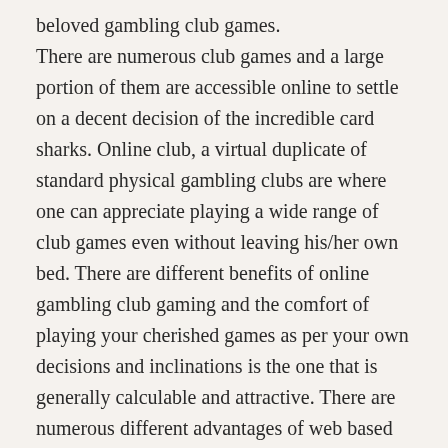beloved gambling club games. There are numerous club games and a large portion of them are accessible online to settle on a decent decision of the incredible card sharks. Online club, a virtual duplicate of standard physical gambling clubs are where one can appreciate playing a wide range of club games even without leaving his/her own bed. There are different benefits of online gambling club gaming and the comfort of playing your cherished games as per your own decisions and inclinations is the one that is generally calculable and attractive. There are numerous different advantages of web based betting, similar to some web-based sites additionally offer players the opportunity to play free gaming choices, which one can never envision in a land-based club. Not just one can keep playing his/her cherished games for extended periods of time without feeling worried yet